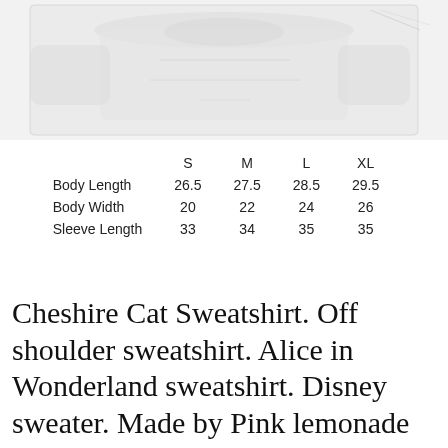[Figure (photo): Partial photo of a sweatshirt, mostly washed out/white, visible at top of page]
|  | S | M | L | XL |
| --- | --- | --- | --- | --- |
| Body Length | 26.5 | 27.5 | 28.5 | 29.5 |
| Body Width | 20 | 22 | 24 | 26 |
| Sleeve Length | 33 | 34 | 35 | 35 |
Cheshire Cat Sweatshirt. Off shoulder sweatshirt. Alice in Wonderland sweatshirt. Disney sweater. Made by Pink lemonade